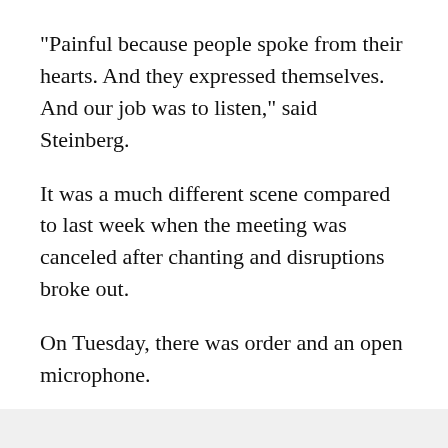"Painful because people spoke from their hearts. And they expressed themselves. And our job was to listen," said Steinberg.
It was a much different scene compared to last week when the meeting was canceled after chanting and disruptions broke out.
On Tuesday, there was order and an open microphone.
Speakers were calling for reforms of the police officer bill of rights, council members to rescind their support of the district attorney, and for charges to be brought against the two officers who shot Stephon